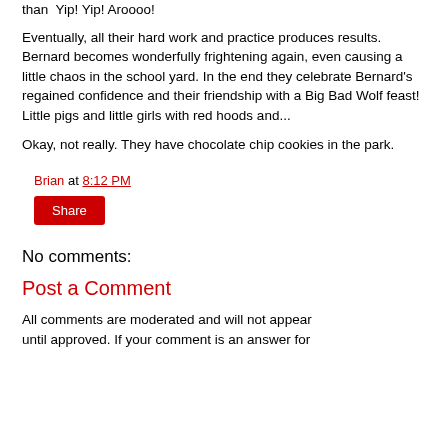than  Yip! Yip! Aroooo!
Eventually, all their hard work and practice produces results. Bernard becomes wonderfully frightening again, even causing a little chaos in the school yard. In the end they celebrate Bernard's regained confidence and their friendship with a Big Bad Wolf feast! Little pigs and little girls with red hoods and...
Okay, not really. They have chocolate chip cookies in the park.
Brian at 8:12 PM
Share
No comments:
Post a Comment
All comments are moderated and will not appear until approved. If your comment is an answer for